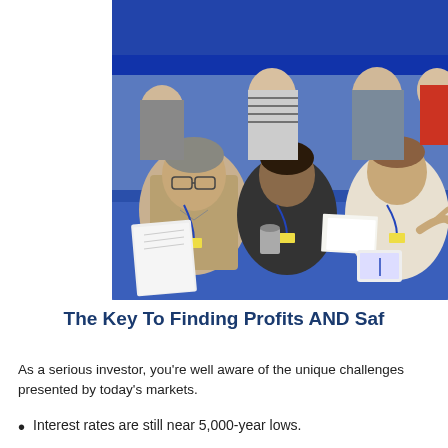[Figure (photo): Conference or seminar scene with multiple people seated around a blue-tablecloth table wearing lanyards/badges, others standing in background. Indoor event space with blue decor.]
The Key To Finding Profits AND Saf
As a serious investor, you're well aware of the unique challenges presented by today's markets.
Interest rates are still near 5,000-year lows.